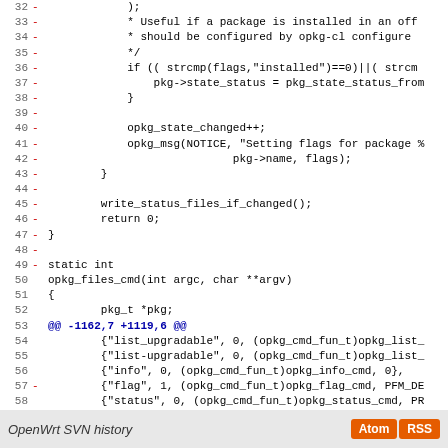Code diff showing lines 32-60 of opkg source file
OpenWrt SVN history  Atom  RSS